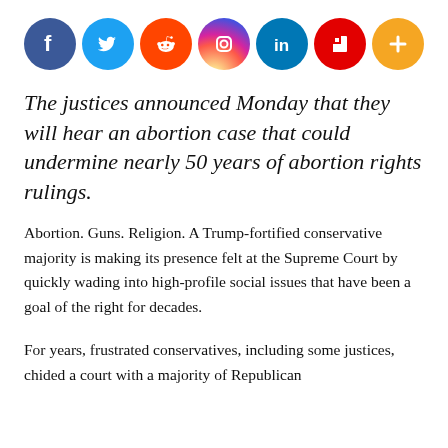[Figure (infographic): Row of social media sharing icons: Facebook (blue), Twitter (light blue), Reddit (orange), Instagram (gradient), LinkedIn (blue), Flipboard (red), and a plus/more button (orange)]
The justices announced Monday that they will hear an abortion case that could undermine nearly 50 years of abortion rights rulings.
Abortion. Guns. Religion. A Trump-fortified conservative majority is making its presence felt at the Supreme Court by quickly wading into high-profile social issues that have been a goal of the right for decades.
For years, frustrated conservatives, including some justices, chided a court with a majority of Republican